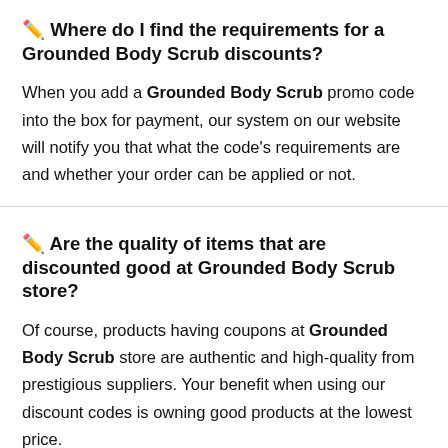✏️ Where do I find the requirements for a Grounded Body Scrub discounts?
When you add a Grounded Body Scrub promo code into the box for payment, our system on our website will notify you that what the code's requirements are and whether your order can be applied or not.
✏️ Are the quality of items that are discounted good at Grounded Body Scrub store?
Of course, products having coupons at Grounded Body Scrub store are authentic and high-quality from prestigious suppliers. Your benefit when using our discount codes is owning good products at the lowest price.